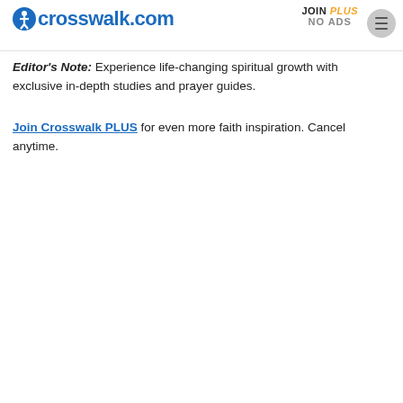crosswalk.com | JOIN PLUS NO ADS
Editor's Note: Experience life-changing spiritual growth with exclusive in-depth studies and prayer guides.
Join Crosswalk PLUS for even more faith inspiration. Cancel anytime.